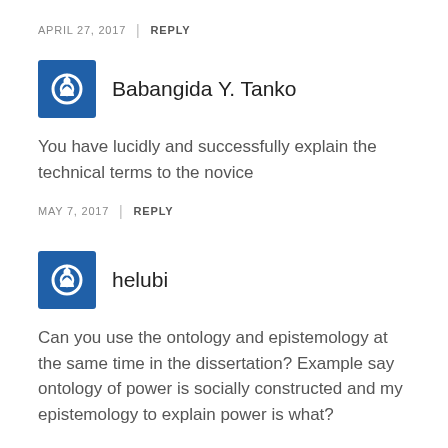APRIL 27, 2017 | REPLY
Babangida Y. Tanko
You have lucidly and successfully explain the technical terms to the novice
MAY 7, 2017 | REPLY
helubi
Can you use the ontology and epistemology at the same time in the dissertation? Example say ontology of power is socially constructed and my epistemology to explain power is what?